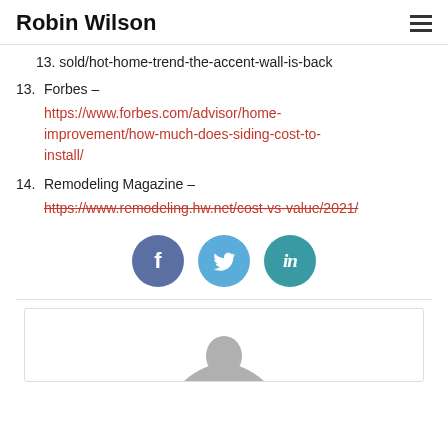Robin Wilson
13. Forbes – https://www.forbes.com/advisor/home-improvement/how-much-does-siding-cost-to-install/
14. Remodeling Magazine – https://www.remodeling.hw.net/cost-vs-value/2021/
[Figure (infographic): Three social media icon circles: Facebook (dark blue), Twitter (light blue), LinkedIn (teal)]
[Figure (photo): Author photo of Robin Wilson, circular crop, partially visible at bottom of page]